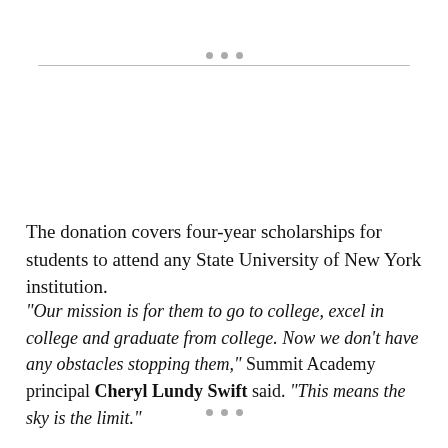The donation covers four-year scholarships for students to attend any State University of New York institution.
“Our mission is for them to go to college, excel in college and graduate from college. Now we don’t have any obstacles stopping them,” Summit Academy principal Cheryl Lundy Swift said. “This means the sky is the limit.”